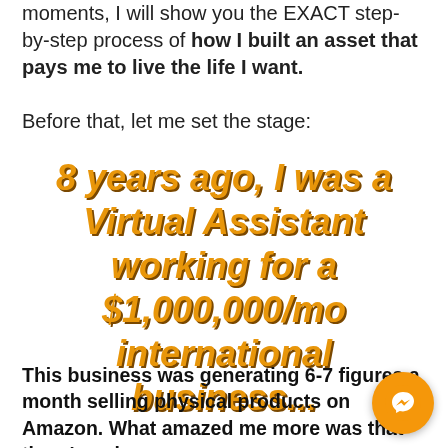moments, I will show you the EXACT step-by-step process of how I built an asset that pays me to live the life I want.
Before that, let me set the stage:
8 years ago, I was a Virtual Assistant working for a $1,000,000/mo international business...
This business was generating 6-7 figures a month selling physical products on Amazon. What amazed me more was that there's only
[Figure (illustration): Messenger chat button icon, orange circle with white lightning-bolt messenger logo]